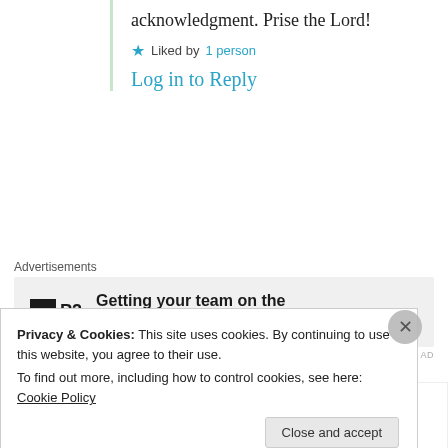acknowledgment. Prise the Lord!
★ Liked by 1 person
Log in to Reply
Advertisements
[Figure (other): P2 advertisement banner: Getting your team on the same page is easy. And free.]
REPORT THIS AD
Ena
5th Mar 2021 at 4:06 am
Privacy & Cookies: This site uses cookies. By continuing to use this website, you agree to their use. To find out more, including how to control cookies, see here: Cookie Policy
Close and accept